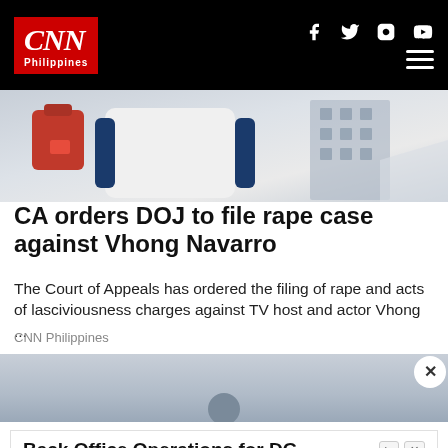CNN Philippines
[Figure (photo): Photo of Vhong Navarro in white and navy jacket near a building, with red handbag visible]
CA orders DOJ to file rape case against Vhong Navarro
The Court of Appeals has ordered the filing of rape and acts of lasciviousness charges against TV host and actor Vhong ...
CNN Philippines
[Figure (photo): Partial image of a person outdoors]
Back Office Operations for DG
Ampion helps developers & investors grow their distributed generation revenue
Ampion Renweable Energy
Apply Now